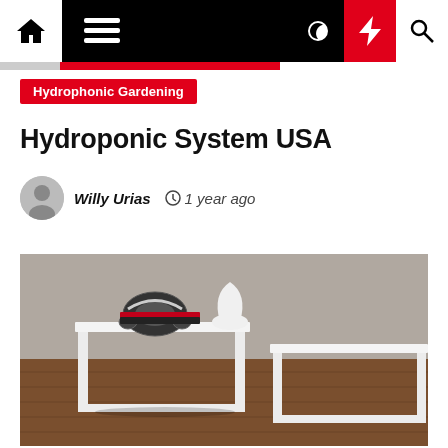Navigation bar with home, menu, dark mode, lightning, and search icons
Hydrophonic Gardening
Hydroponic System USA
Willy Urias  1 year ago
[Figure (photo): Photo of two white side tables on a wooden floor with headphones, books, and a lamp on top]